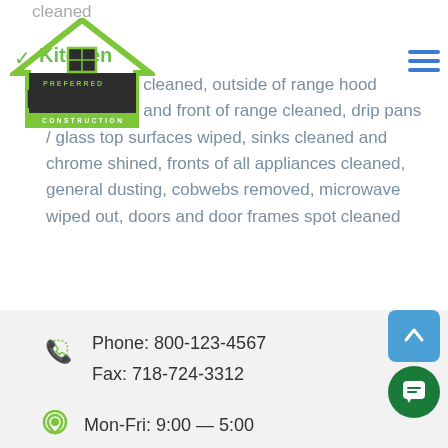cleaned
[Figure (logo): Preferred Elite Construction logo with green roof/house outline and dark block letters spelling ELITE]
Kitchen — Countertops cleaned, outside of range hood cleaned, top and front of range cleaned, drip pans / glass top surfaces wiped, sinks cleaned and chrome shined, fronts of all appliances cleaned, general dusting, cobwebs removed, microwave wiped out, doors and door frames spot cleaned
Phone: 800-123-4567
Fax: 718-724-3312
Mon-Fri: 9:00 — 5:00